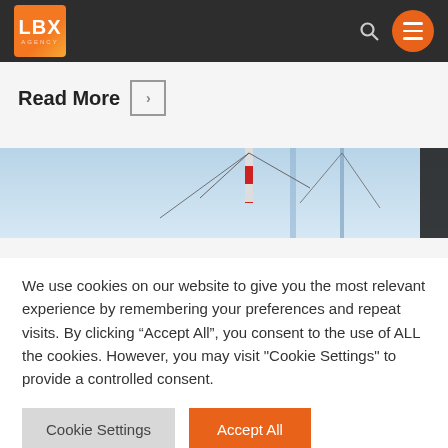LBX Agency — navigation header with logo, search, and menu
Read More
[Figure (photo): Wide banner photograph of construction crane or tower against a light blue sky]
We use cookies on our website to give you the most relevant experience by remembering your preferences and repeat visits. By clicking "Accept All", you consent to the use of ALL the cookies. However, you may visit "Cookie Settings" to provide a controlled consent.